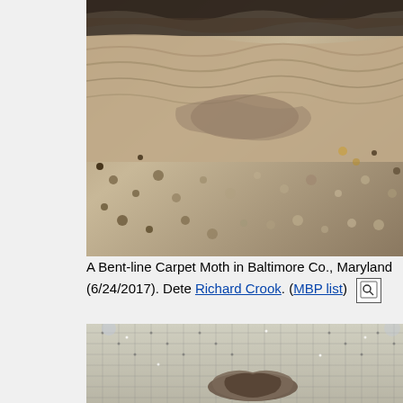[Figure (photo): Close-up macro photograph of a Bent-line Carpet Moth resting on a rough rocky or bark surface, showing detailed wing texture with brown, tan, and grey mottled pattern.]
A Bent-line Carpet Moth in Baltimore Co., Maryland (6/24/2017). Dete Richard Crook. (MBP list)
[Figure (photo): Close-up photograph of a Bent-line Carpet Moth resting on a wire mesh or screen surface, showing the moth's wings from above with a brownish-grey mottled pattern.]